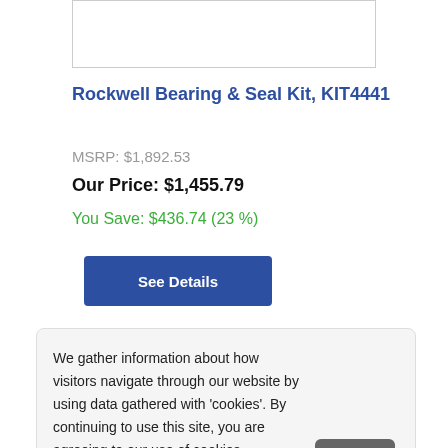[Figure (photo): Product image placeholder box for Rockwell Bearing & Seal Kit KIT4441]
Rockwell Bearing & Seal Kit, KIT4441
MSRP: $1,892.53
Our Price: $1,455.79
You Save: $436.74 (23 %)
See Details
We gather information about how visitors navigate through our website by using data gathered with 'cookies'. By continuing to use this site, you are agreeing to our use of cookies.
Learn more
Got it!